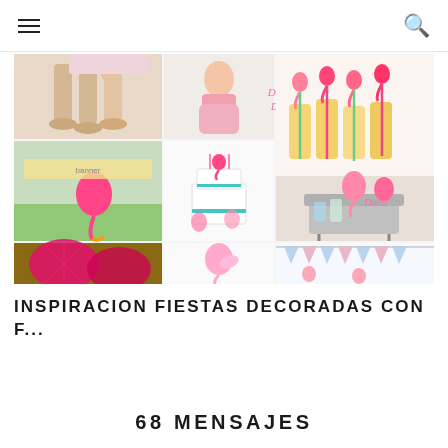≡  🔍
[Figure (photo): Collage of flamingo-themed party decoration photos: flamingo table decor, cakes, pink paper fans, flamingo straws and accessories, garlands]
INSPIRACION FIESTAS DECORADAS CON F...
68 MENSAJES